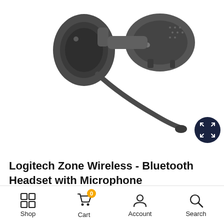[Figure (photo): Logitech Zone Wireless Bluetooth headset with microphone, dark grey, photographed from below showing ear cup and microphone boom arm, on white background]
Logitech Zone Wireless - Bluetooth Headset with Microphone
[Figure (other): 5-star rating display showing zero stars filled, all stars outlined in yellow/gold]
Shop  Cart 0  Account  Search